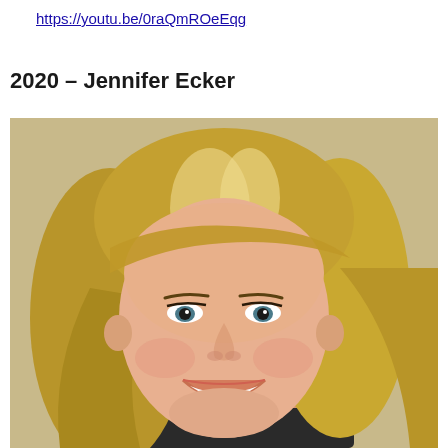https://youtu.be/0raQmROeEqg
2020 – Jennifer Ecker
[Figure (photo): Headshot portrait of Jennifer Ecker, a woman with shoulder-length blonde hair with highlights, smiling broadly, wearing dark clothing, photographed against a light tan/beige background.]